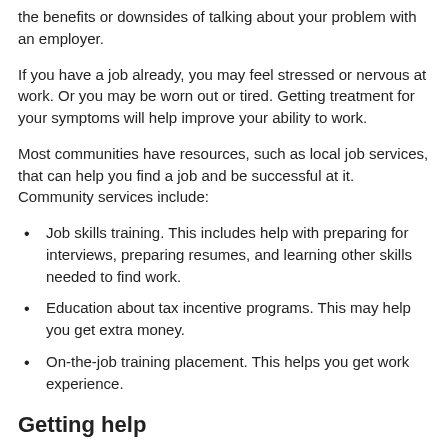the benefits or downsides of talking about your problem with an employer.
If you have a job already, you may feel stressed or nervous at work. Or you may be worn out or tired. Getting treatment for your symptoms will help improve your ability to work.
Most communities have resources, such as local job services, that can help you find a job and be successful at it. Community services include:
Job skills training. This includes help with preparing for interviews, preparing resumes, and learning other skills needed to find work.
Education about tax incentive programs. This may help you get extra money.
On-the-job training placement. This helps you get work experience.
Getting help
Many cities have a local job service, employment office, or state health and welfare office. These organizations can help you get work or find a place to live. You can find information about these services in the